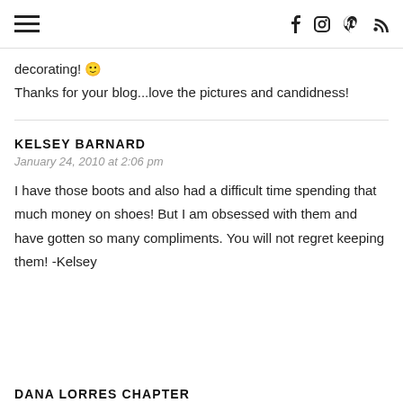☰ | f  Instagram  Pinterest  RSS
decorating! 🙂
Thanks for your blog...love the pictures and candidness!
KELSEY BARNARD
January 24, 2010 at 2:06 pm

I have those boots and also had a difficult time spending that much money on shoes! But I am obsessed with them and have gotten so many compliments. You will not regret keeping them! -Kelsey
DANA LORRES CHAPTER